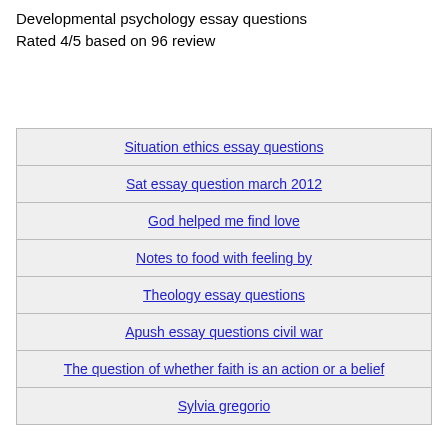Developmental psychology essay questions
Rated 4/5 based on 96 review
| Situation ethics essay questions |
| Sat essay question march 2012 |
| God helped me find love |
| Notes to food with feeling by |
| Theology essay questions |
| Apush essay questions civil war |
| The question of whether faith is an action or a belief |
| Sylvia gregorio |